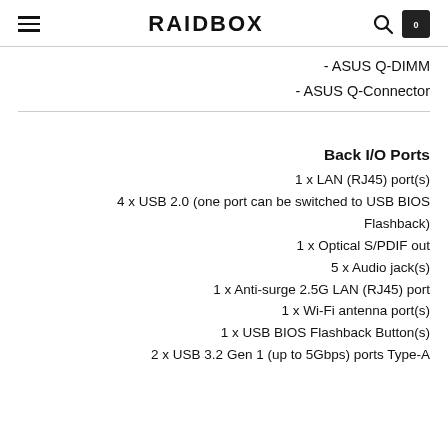RAIDBOX
- ASUS Q-DIMM
- ASUS Q-Connector
Back I/O Ports
1 x LAN (RJ45) port(s)
4 x USB 2.0 (one port can be switched to USB BIOS Flashback)
1 x Optical S/PDIF out
5 x Audio jack(s)
1 x Anti-surge 2.5G LAN (RJ45) port
1 x Wi-Fi antenna port(s)
1 x USB BIOS Flashback Button(s)
2 x USB 3.2 Gen 1 (up to 5Gbps) ports Type-A